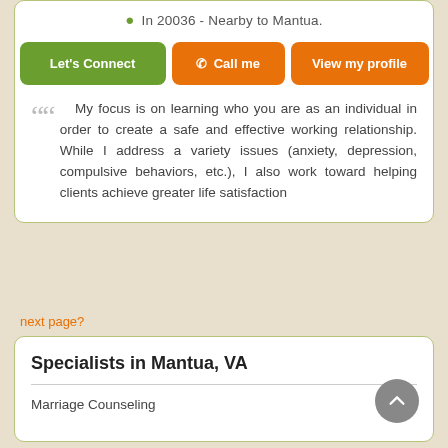In 20036 - Nearby to Mantua.
Let's Connect | Call me | View my profile
My focus is on learning who you are as an individual in order to create a safe and effective working relationship. While I address a variety issues (anxiety, depression, compulsive behaviors, etc.), I also work toward helping clients achieve greater life satisfaction
next page?
Specialists in Mantua, VA
Marriage Counseling